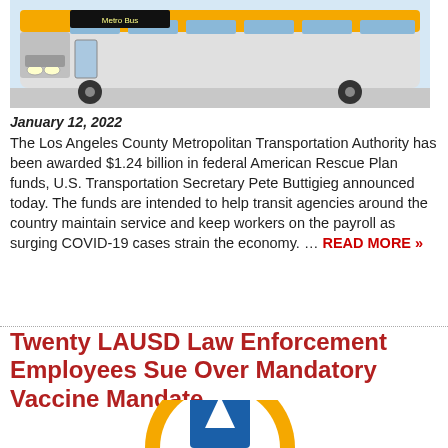[Figure (photo): Front view of an LA Metro bus (yellow and silver) in daylight]
January 12, 2022
The Los Angeles County Metropolitan Transportation Authority has been awarded $1.24 billion in federal American Rescue Plan funds, U.S. Transportation Secretary Pete Buttigieg announced today. The funds are intended to help transit agencies around the country maintain service and keep workers on the payroll as surging COVID-19 cases strain the economy. … READ MORE »
Twenty LAUSD Law Enforcement Employees Sue Over Mandatory Vaccine Mandate
[Figure (logo): LAUSD logo — partial, circular orange and blue emblem visible at bottom of page]